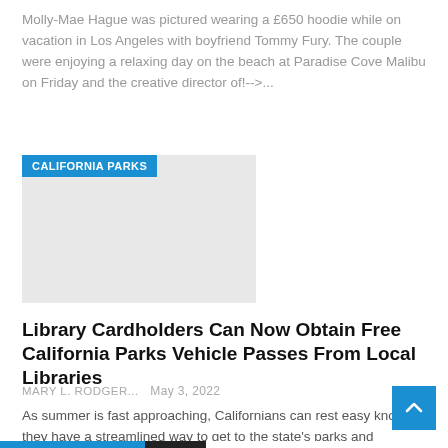Molly-Mae Hague was pictured wearing a £650 hoodie while on vacation in Los Angeles with boyfriend Tommy Fury. The couple were enjoying a relaxing day on the beach at Paradise Cove Malibu on Friday and the creative director of!-->...
[Figure (photo): A placeholder image block with light grey background and a 'CALIFORNIA PARKS' blue category badge overlaid at top-left.]
Library Cardholders Can Now Obtain Free California Parks Vehicle Passes From Local Libraries
MARY L. RODGER...   May 3, 2022
As summer is fast approaching, Californians can rest easy knowing they have a streamlined way to get to the state's parks and beaches. If you are a Long Beach resident, all you have to do is stand in line, that is, virtually. As...